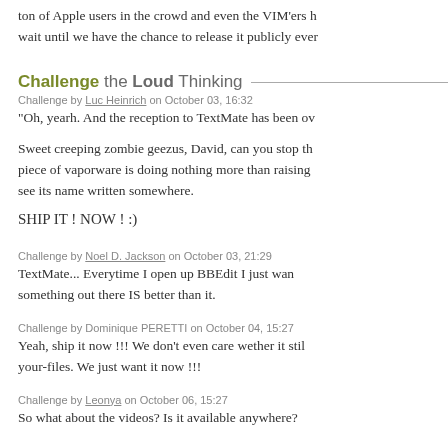ton of Apple users in the crowd and even the VIM'ers h wait until we have the chance to release it publicly ever
Challenge the Loud Thinking
Challenge by Luc Heinrich on October 03, 16:32
"Oh, yearh. And the reception to TextMate has been ov
Sweet creeping zombie geezus, David, can you stop th piece of vaporware is doing nothing more than raising see its name written somewhere.
SHIP IT ! NOW ! :)
Challenge by Noel D. Jackson on October 03, 21:29
TextMate... Everytime I open up BBEdit I just wan something out there IS better than it.
Challenge by Dominique PERETTI on October 04, 15:27
Yeah, ship it now !!! We don't even care wether it stil your-files. We just want it now !!!
Challenge by Leonya on October 06, 15:27
So what about the videos? Is it available anywhere?